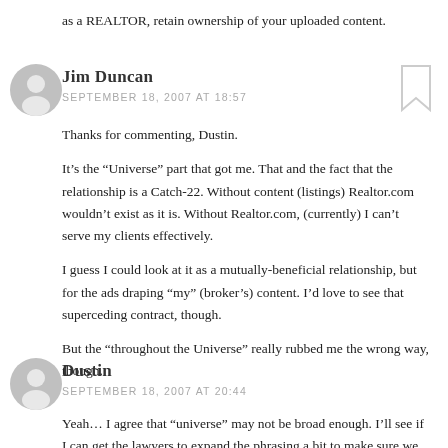as a REALTOR, retain ownership of your uploaded content.
Jim Duncan
SEPTEMBER 18, 2007 AT 18:57
Thanks for commenting, Dustin.
It's the “Universe” part that got me. That and the fact that the relationship is a Catch-22. Without content (listings) Realtor.com wouldn't exist as it is. Without Realtor.com, (currently) I can't serve my clients effectively.
I guess I could look at it as a mutually-beneficial relationship, but for the ads draping “my” (broker’s) content. I’d love to see that superceding contract, though.
But the “throughout the Universe” really rubbed me the wrong way, though.
Dustin
SEPTEMBER 18, 2007 AT 20:44
Yeah… I agree that “universe” may not be broad enough. I'll see if I can get the lawyers to expand the phrasing a bit to make sure we cover all of our